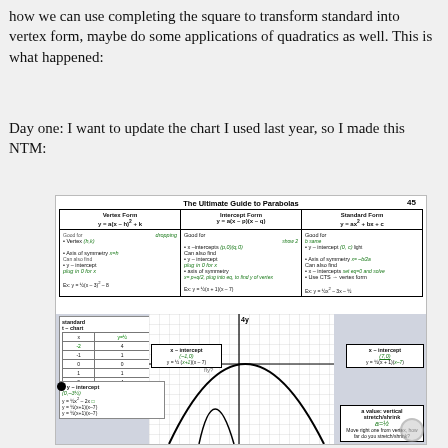how we can use completing the square to transform standard into vertex form, maybe do some applications of quadratics as well. This is what happened:
Day one: I want to update the chart I used last year, so I made this NTM:
[Figure (photo): Handwritten chart titled 'The Ultimate Guide to Parabolas' with three columns: Vertex Form y=a(x-h)^2+k, Intercept Form y=a(x-p)(x-q), and Standard Form y=ax^2+bx+c. Below is a graph of a parabola with annotations for x-intercepts, y-intercept, a-value, and a standard t-chart.]